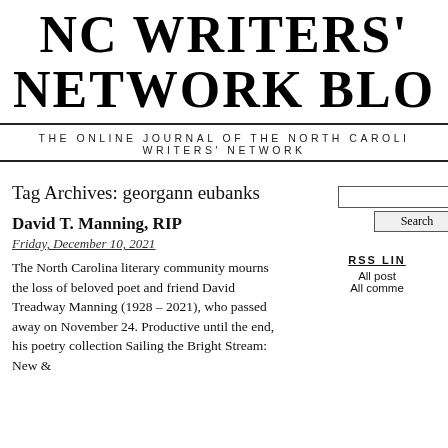NC WRITERS' NETWORK BLO
THE ONLINE JOURNAL OF THE NORTH CAROLI WRITERS' NETWORK
Tag Archives: georgann eubanks
David T. Manning, RIP
Friday, December 10, 2021
The North Carolina literary community mourns the loss of beloved poet and friend David Treadway Manning (1928 – 2021), who passed away on November 24. Productive until the end, his poetry collection Sailing the Bright Stream: New &
RSS LIN All post All comme